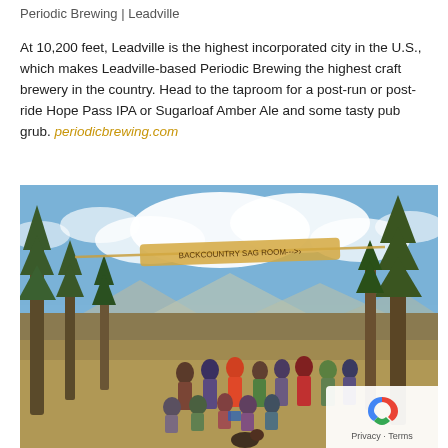Periodic Brewing | Leadville
At 10,200 feet, Leadville is the highest incorporated city in the U.S., which makes Leadville-based Periodic Brewing the highest craft brewery in the country. Head to the taproom for a post-run or post-ride Hope Pass IPA or Sugarloaf Amber Ale and some tasty pub grub. periodicbrewing.com
[Figure (photo): Group of hikers posing under a wooden banner sign strung between trees in a mountain meadow with blue sky and clouds, and mountains in the background.]